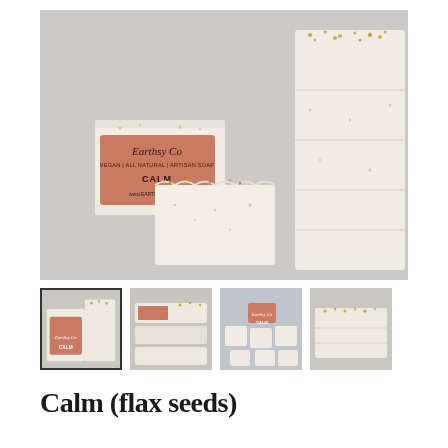[Figure (photo): Earthsy Co artisan soap bars labeled 'CALM', vegan all natural, with flax seeds on top, cream colored soap on a light blue-gray background]
[Figure (photo): Thumbnail 1 (selected): soap bars with Earthsy Co label viewed from above]
[Figure (photo): Thumbnail 2: soap bars stacked showing cross sections]
[Figure (photo): Thumbnail 3: multiple small soap bars scattered with label]
[Figure (photo): Thumbnail 4: soap bars stacked on side showing tops with flax seeds]
Calm (flax seeds)